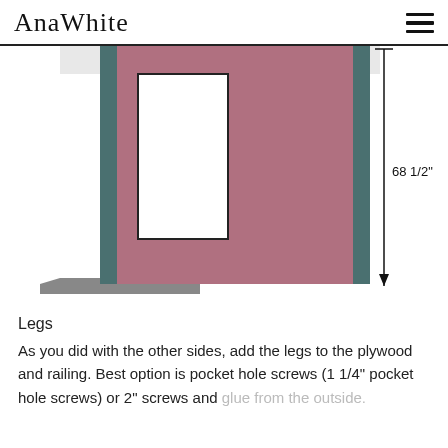AnaWhite
[Figure (engineering-diagram): Front view engineering diagram of a cabinet/wardrobe panel showing a mauve/pink plywood panel with a white rectangular cutout (window or mirror opening), dark teal vertical leg boards on left and right sides, a gray horizontal base board at bottom left, and a dimension annotation on the right side showing 68 1/2" height with an arrow indicator.]
Legs
As you did with the other sides, add the legs to the plywood and railing. Best option is pocket hole screws (1 1/4" pocket hole screws) or 2" screws and glue from the outside.